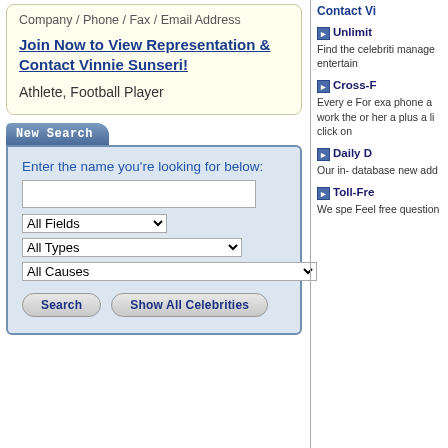Company / Phone / Fax / Email Address
Join Now to View Representation & Contact Vinnie Sunseri!
Athlete, Football Player
New Search
Enter the name you're looking for below:
All Fields | All Types | All Causes
Search   Show All Celebrities
Contact Vi
Unlimit — Find the celebriti manage entertain
Cross-F — Every e For exa phone a work the or her a plus a li click on
Daily D — Our in- database new add
Toll-Fre — We spe Feel free question